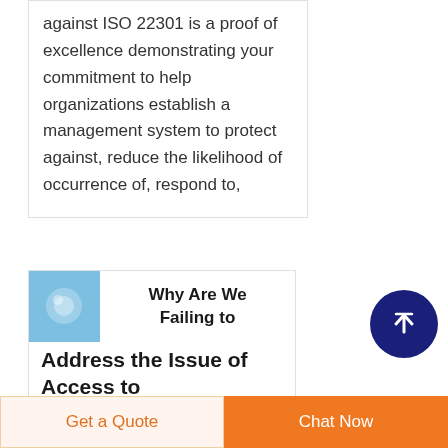against ISO 22301 is a proof of excellence demonstrating your commitment to help organizations establish a management system to protect against, reduce the likelihood of occurrence of, respond to,
[Figure (illustration): Light blue abstract image used as thumbnail]
Why Are We Failing to Address the Issue of Access to
Insulin was discovered in 1921 and soon became widely
Get a Quote
Chat Now